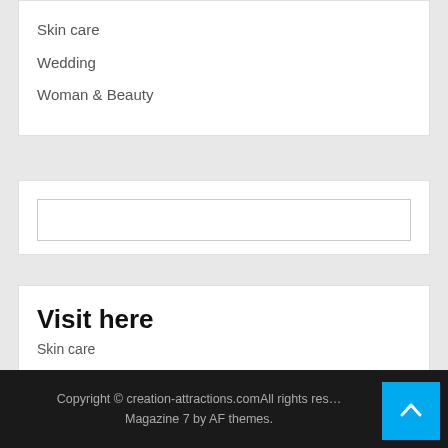Skin care
Wedding
Woman & Beauty
[Figure (other): Search input box (empty)]
Visit here
Skin care
Copyright © creation-attractions.comAll rights reserved. Magazine 7 by AF themes.